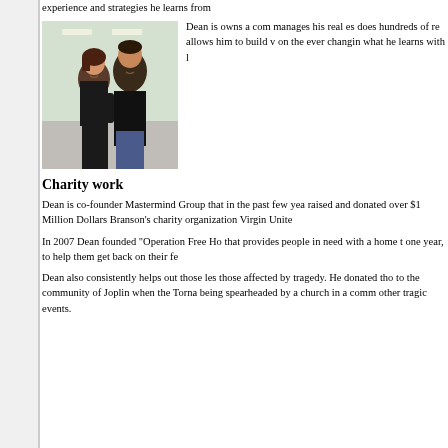experience and strategies he learns from
[Figure (photo): Two people posing together indoors, a woman and a man in dark clothing, smiling at the camera in what appears to be an office or salon setting.]
Dean is owns a com manages his real es does hundreds of re allows him to build v on the ever changin what he learns with l
Charity work
Dean is co-founder Mastermind Group that in the past few yea raised and donated over $1 Million Dollars Branson's charity organization Virgin Unite
In 2007 Dean founded "Operation Free Ho that provides people in need with a home t one year, to help them get back on their fe
Dean also consistently helps out those les those affected by tragedy. He donated tho to the community of Joplin when the Torna being spearheaded by a church in a comm other tragic events.